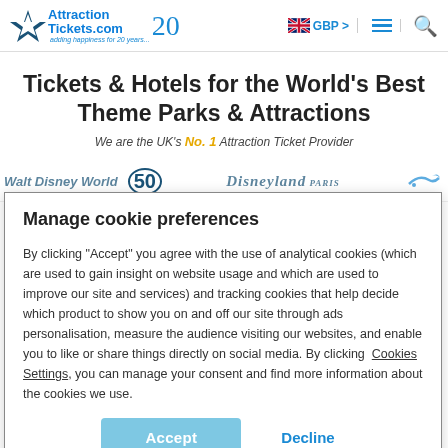[Figure (logo): AttractionTickets.com logo with '20 years' text and tagline 'adding happiness for 20 years']
Tickets & Hotels for the World's Best Theme Parks & Attractions
We are the UK's No. 1 Attraction Ticket Provider
[Figure (illustration): Brand logos strip showing Walt Disney World 50th anniversary, Disneyland Paris, and a dolphin logo (partially visible)]
Manage cookie preferences
By clicking "Accept" you agree with the use of analytical cookies (which are used to gain insight on website usage and which are used to improve our site and services) and tracking cookies that help decide which product to show you on and off our site through ads personalisation, measure the audience visiting our websites, and enable you to like or share things directly on social media. By clicking Cookies Settings, you can manage your consent and find more information about the cookies we use.
Accept | Decline